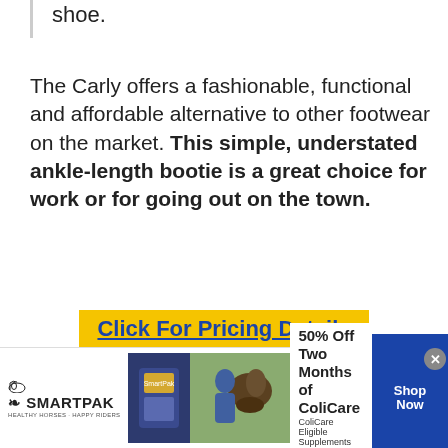shoe.
The Carly offers a fashionable, functional and affordable alternative to other footwear on the market. This simple, understated ankle-length bootie is a great choice for work or for going out on the town.
Click For Pricing Details
[Figure (infographic): SmartPak advertisement banner: SmartPak logo on left with horse icon, product package image in center-left, photo of woman with horse in center, text reads '50% Off Two Months of ColiCare, ColiCare Eligible Supplements, CODE: COLICARE10', blue Shop Now button on right, close button (x) at top right of ad.]